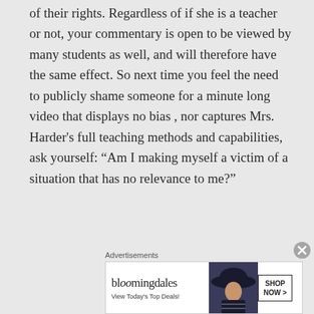of their rights. Regardless of if she is a teacher or not, your commentary is open to be viewed by many students as well, and will therefore have the same effect. So next time you feel the need to publicly shame someone for a minute long video that displays no bias , nor captures Mrs. Harder's full teaching methods and capabilities, ask yourself: “Am I making myself a victim of a situation that has no relevance to me?”
Advertisements
[Figure (other): Bloomingdale's advertisement banner with text 'View Today's Top Deals!' and 'SHOP NOW >' button, featuring a woman wearing a large dark hat]